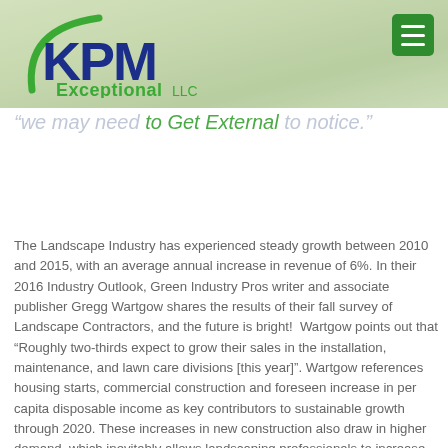[Figure (logo): KPM Exceptional LLC logo with green arc and blue bold letters KPM above green text Exceptional LLC]
"we may need to Get External to notice."
The Landscape Industry has experienced steady growth between 2010 and 2015, with an average annual increase in revenue of 6%. In their 2016 Industry Outlook, Green Industry Pros writer and associate publisher Gregg Wartgow shares the results of their fall survey of Landscape Contractors, and the future is bright!  Wartgow points out that “Roughly two-thirds expect to grow their sales in the installation, maintenance, and lawn care divisions [this year]”. Wartgow references housing starts, commercial construction and foreseen increase in per capita disposable income as key contributors to sustainable growth through 2020. These increases in new construction also draw in higher demand, which inevitably allows landscaping professionals to increase their profit margins.